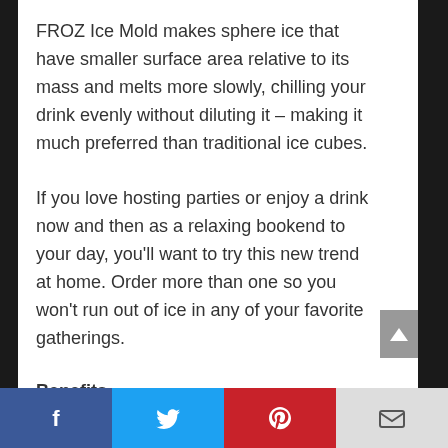FROZ Ice Mold makes sphere ice that have smaller surface area relative to its mass and melts more slowly, chilling your drink evenly without diluting it – making it much preferred than traditional ice cubes.
If you love hosting parties or enjoy a drink now and then as a relaxing bookend to your day, you'll want to try this new trend at home. Order more than one so you won't run out of ice in any of your favorite gatherings.
Benefits
Facebook | Twitter | Pinterest | Email